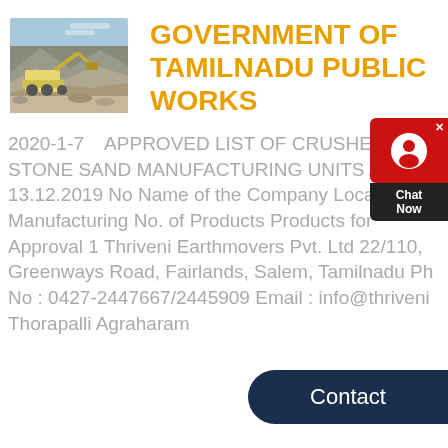[Figure (photo): Photograph of a quarry/mining site with excavation machinery and rock piles]
GOVERNMENT OF TAMILNADU PUBLIC WORKS
2020-1-7    APPROVED LIST OF CRUSHED STONE SAND MANUFACTURING UNITS AS ON 13.12.2019 No Name of the Company Location of Manufacturing No. of Products Products for Approval 1 Thriveni Earthmovers Pvt. Ltd 22/110, Greenways Road, Fairlands, Salem, Tamilnadu Ph No : 0427-2447667/2445909 Email : info@thriveni Thorapalli Agraharam